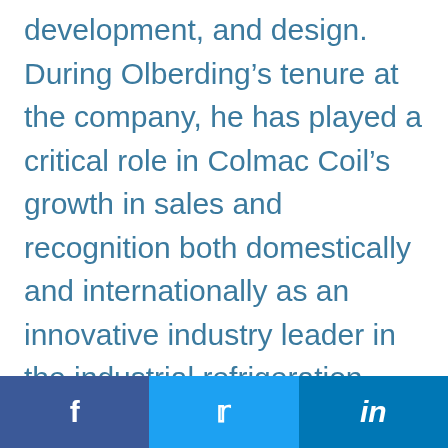development, and design. During Olberding's tenure at the company, he has played a critical role in Colmac Coil's growth in sales and recognition both domestically and internationally as an innovative industry leader in the industrial refrigeration market. He is an active
[Figure (infographic): Social media share bar with three buttons: Facebook (dark blue), Twitter (light blue), LinkedIn (medium blue)]